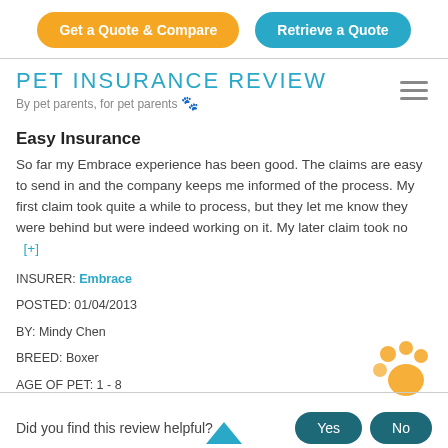Get a Quote & Compare | Retrieve a Quote
PET INSURANCE REVIEW
By pet parents, for pet parents 🐾
Easy Insurance
So far my Embrace experience has been good. The claims are easy to send in and the company keeps me informed of the process. My first claim took quite a while to process, but they let me know they were behind but were indeed working on it. My later claim took no  [+]
INSURER: Embrace
POSTED: 01/04/2013
BY: Mindy Chen
BREED: Boxer
AGE OF PET: 1 - 8
Did you find this review helpful?